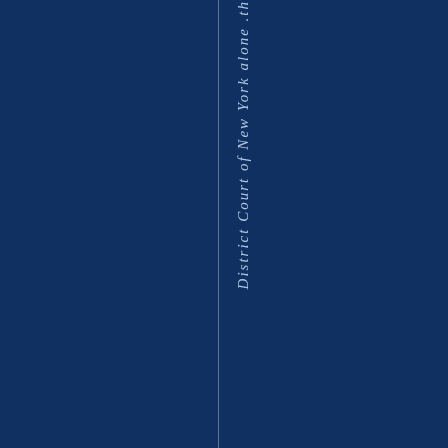District Court of New York alone .th